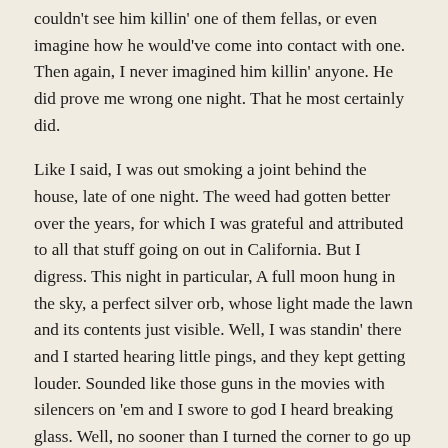couldn't see him killin' one of them fellas, or even imagine how he would've come into contact with one. Then again, I never imagined him killin' anyone. He did prove me wrong one night. That he most certainly did.
Like I said, I was out smoking a joint behind the house, late of one night. The weed had gotten better over the years, for which I was grateful and attributed to all that stuff going on out in California. But I digress. This night in particular, A full moon hung in the sky, a perfect silver orb, whose light made the lawn and its contents just visible. Well, I was standin' there and I started hearing little pings, and they kept getting louder. Sounded like those guns in the movies with silencers on 'em and I swore to god I heard breaking glass. Well, no sooner than I turned the corner to go up front, somethin' whizzed right by my ear. It was so close that I could feel the wind off of it. I about shit my pants, but I kept on walking. As I got to the front of the house, the screen door swung wide open and